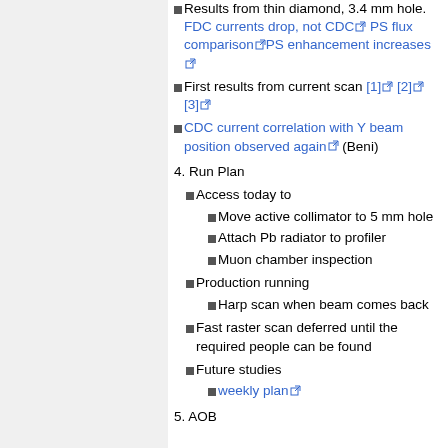Results from thin diamond, 3.4 mm hole. FDC currents drop, not CDC [ext] PS flux comparison [ext] PS enhancement increases [ext]
First results from current scan [1] [ext] [2] [ext] [3] [ext]
CDC current correlation with Y beam position observed again [ext] (Beni)
4. Run Plan
Access today to
Move active collimator to 5 mm hole
Attach Pb radiator to profiler
Muon chamber inspection
Production running
Harp scan when beam comes back
Fast raster scan deferred until the required people can be found
Future studies
weekly plan [ext]
5. AOB